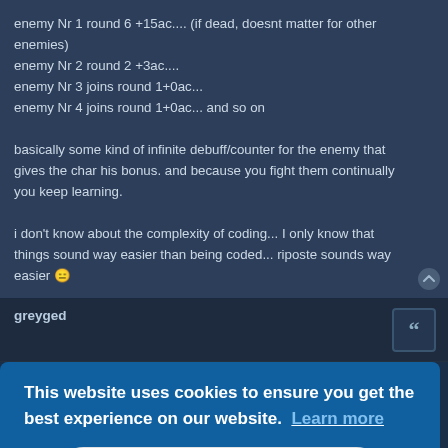enemy Nr 1 round 6 +15ac.... (if dead, doesnt matter for other enemies)
enemy Nr 2 round 2 +3ac....
enemy Nr 3 joins round 1+0ac...
enemy Nr 4 joins round 1+0ac... and so on

basically some kind of infinite debuff/counter for the enemy that gives the char his bonus. and because you fight them continually you keep learning.

i don't know about the complexity of coding... I only know that things sound way easier than being coded... riposte sounds way easier 😑
greyged
This website uses cookies to ensure you get the best experience on our website. Learn more
Got it!
ink the OR. That doesn't make a whole lot of sense to me for that skill.